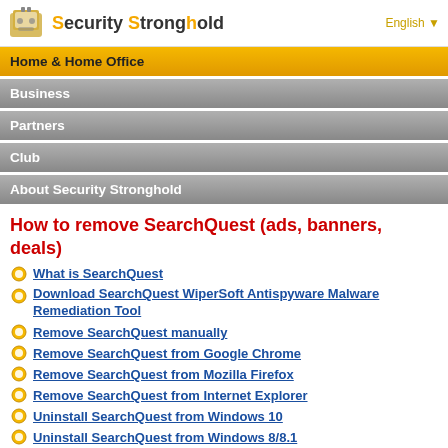Security Stronghold | English
Home & Home Office
Business
Partners
Club
About Security Stronghold
How to remove SearchQuest (ads, banners, deals)
What is SearchQuest
Download SearchQuest WiperSoft Antispyware Malware Remediation Tool
Remove SearchQuest manually
Remove SearchQuest from Google Chrome
Remove SearchQuest from Mozilla Firefox
Remove SearchQuest from Internet Explorer
Uninstall SearchQuest from Windows 10
Uninstall SearchQuest from Windows 8/8.1
Uninstall SearchQuest from Windows 7